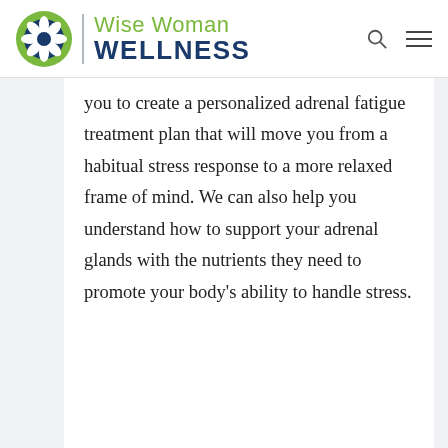Wise Woman WELLNESS
you to create a personalized adrenal fatigue treatment plan that will move you from a habitual stress response to a more relaxed frame of mind. We can also help you understand how to support your adrenal glands with the nutrients they need to promote your body's ability to handle stress.